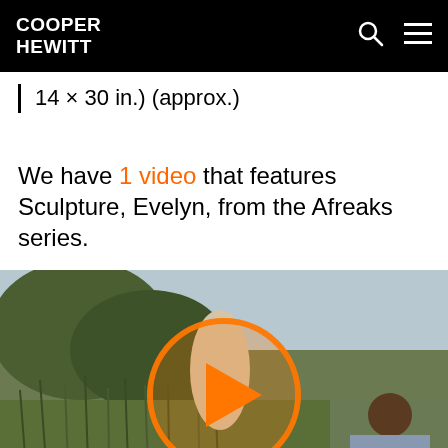COOPER HEWITT
14 × 30 in.) (approx.)
We have 1 video that features Sculpture, Evelyn, from the Afreaks series.
[Figure (photo): Video thumbnail showing a person in an outdoor scene with tall grass and trees, with an orange play button overlay circle in the center]